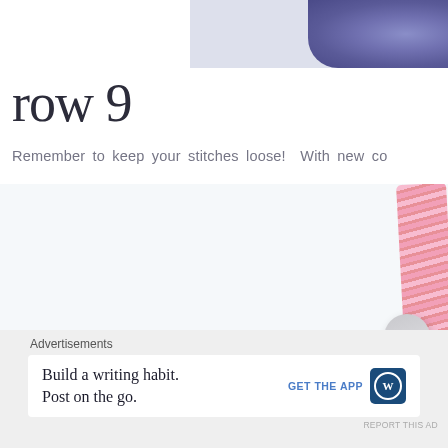[Figure (photo): Partial photo of yarn skeins in blue and purple tones at top of page]
row 9
Remember to keep your stitches loose!  With new co
[Figure (photo): Craft/crochet photo showing pink yarn, teal yarn, and a crochet hook on white background]
Advertisements
Build a writing habit.
Post on the go.
GET THE APP